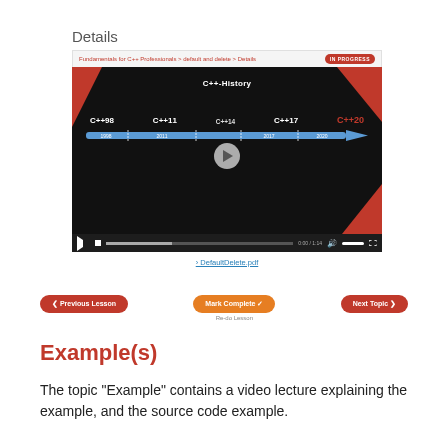Details
[Figure (screenshot): Screenshot of an online learning platform showing a video lecture on C++ History with a timeline showing C++98, C++11, C++14, C++17, C++20. The interface shows breadcrumb navigation, an IN PROGRESS badge, a video player with controls, a PDF attachment link (DefaultDelete.pdf), and navigation buttons: Previous Lesson, Mark Complete (with Re-do lesson below), and Next Topic.]
Example(s)
The topic "Example" contains a video lecture explaining the example, and the source code example.